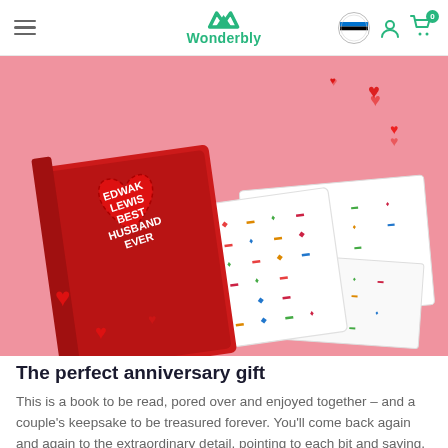Wonderbly
[Figure (photo): Wonderbly personalized anniversary book shown against a pink background with red heart decorations. The book cover shows a red heart with text 'EDWAK LEWIS BEST HUSBAND EVER'. The book is shown open revealing white patterned inner pages with colorful small designs.]
The perfect anniversary gift
This is a book to be read, pored over and enjoyed together – and a couple's keepsake to be treasured forever. You'll come back again and again to the extraordinary detail, pointing to each bit and saying, 'Yes